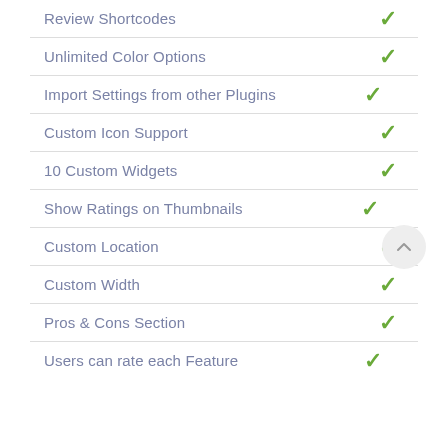| Feature | Available |
| --- | --- |
| Review Shortcodes | ✓ |
| Unlimited Color Options | ✓ |
| Import Settings from other Plugins | ✓ |
| Custom Icon Support | ✓ |
| 10 Custom Widgets | ✓ |
| Show Ratings on Thumbnails | ✓ |
| Custom Location | ✓ |
| Custom Width | ✓ |
| Pros & Cons Section | ✓ |
| Users can rate each Feature | ✓ |